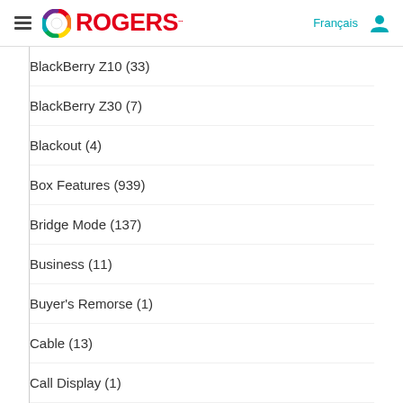Rogers — Français
BlackBerry Z10 (33)
BlackBerry Z30 (7)
Blackout (4)
Box Features (939)
Bridge Mode (137)
Business (11)
Buyer's Remorse (1)
Cable (13)
Call Display (1)